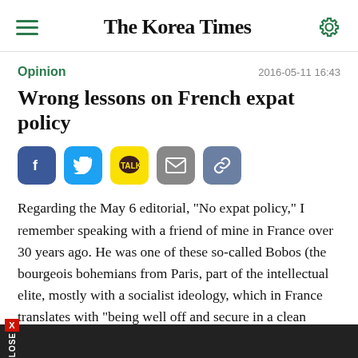The Korea Times
Opinion
2016-05-11 16:43
Wrong lessons on French expat policy
[Figure (infographic): Social sharing buttons: Facebook (blue), Twitter (blue), KakaoTalk (yellow), Email (grey), Link/chain (blue-grey)]
Regarding the May 6 editorial, "No expat policy," I remember speaking with a friend of mine in France over 30 years ago. He was one of these so-called Bobos (the bourgeois bohemians from Paris, part of the intellectual elite, mostly with a socialist ideology, which in France translates with "being well off and secure in a clean neighborhood, but feeling sorry for what the rest of the less-educated population faces in
[Figure (other): Dark advertisement close bar at the bottom with X CLOSE button in red and white]